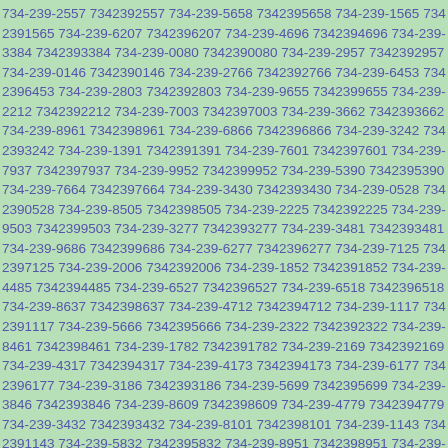734-239-2557 7342392557 734-239-5658 7342395658 734-239-1565 7342391565 734-239-6207 7342396207 734-239-4696 7342394696 734-239-3384 7342393384 734-239-0080 7342390080 734-239-2957 7342392957 734-239-0146 7342390146 734-239-2766 7342392766 734-239-6453 7342396453 734-239-2803 7342392803 734-239-9655 7342399655 734-239-2212 7342392212 734-239-7003 7342397003 734-239-3662 7342393662 734-239-8961 7342398961 734-239-6866 7342396866 734-239-3242 7342393242 734-239-1391 7342391391 734-239-7601 7342397601 734-239-7937 7342397937 734-239-9952 7342399952 734-239-5390 7342395390 734-239-7664 7342397664 734-239-3430 7342393430 734-239-0528 7342390528 734-239-8505 7342398505 734-239-2225 7342392225 734-239-9503 7342399503 734-239-3277 7342393277 734-239-3481 7342393481 734-239-9686 7342399686 734-239-6277 7342396277 734-239-7125 7342397125 734-239-2006 7342392006 734-239-1852 7342391852 734-239-4485 7342394485 734-239-6527 7342396527 734-239-6518 7342396518 734-239-8637 7342398637 734-239-4712 7342394712 734-239-1117 7342391117 734-239-5666 7342395666 734-239-2322 7342392322 734-239-8461 7342398461 734-239-1782 7342391782 734-239-2169 7342392169 734-239-4317 7342394317 734-239-4173 7342394173 734-239-6177 7342396177 734-239-3186 7342393186 734-239-5699 7342395699 734-239-3846 7342393846 734-239-8609 7342398609 734-239-4779 7342394779 734-239-3432 7342393432 734-239-8101 7342398101 734-239-1143 7342391143 734-239-5832 7342395832 734-239-8951 7342398951 734-239-1035 7342391035 734-239-3329 7342393329 734-239-2896 7342392896 734-239-8659 7342398659